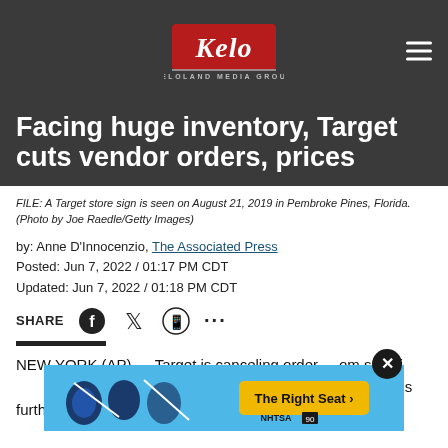[Figure (logo): KELOLAND Media Group logo with stylized Kelo text on dark red background, white serif script]
Facing huge inventory, Target cuts vendor orders, prices
FILE: A Target store sign is seen on August 21, 2019 in Pembroke Pines, Florida. (Photo by Joe Raedle/Getty Images)
by: Anne D'Innocenzio, The Associated Press
Posted: Jun 7, 2022 / 01:17 PM CDT
Updated: Jun 7, 2022 / 01:18 PM CDT
NEW YORK (AP) — Target is canceling orders from suppliers, getting rid of extra inventory, and it's slashing prices further to clear out amassed
[Figure (other): NHTSA advertisement banner - The Right Seat, blue background with child seat safety icons]